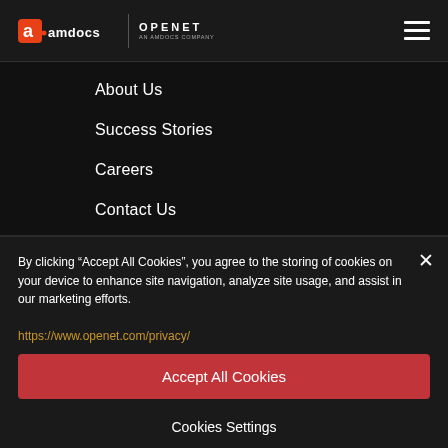amdocs | OPENET An Amdocs Company
About Us
Success Stories
Careers
Contact Us
By clicking “Accept All Cookies”, you agree to the storing of cookies on your device to enhance site navigation, analyze site usage, and assist in our marketing efforts.
https://www.openet.com/privacy/
Accept All Cookies
Cookies Settings